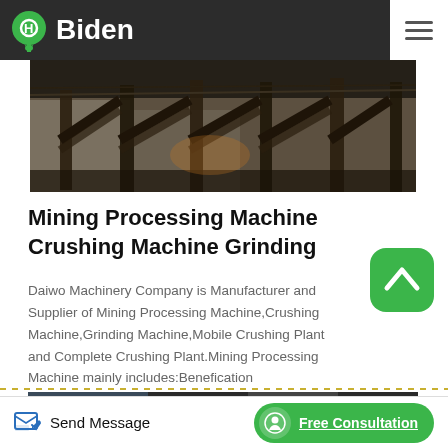Biden
[Figure (photo): Industrial mining structure with wooden beams and steel framework, dimly lit interior]
Mining Processing Machine Crushing Machine Grinding
Daiwo Machinery Company is Manufacturer and Supplier of Mining Processing Machine,Crushing Machine,Grinding Machine,Mobile Crushing Plant and Complete Crushing Plant.Mining Processing Machine mainly includes:Benefication Plant,Classifying Equipment,Magnetic Separation Equipment,Flotation Equipment,Gravity Separation...
[Figure (photo): Partial view of industrial/mining equipment at bottom of page]